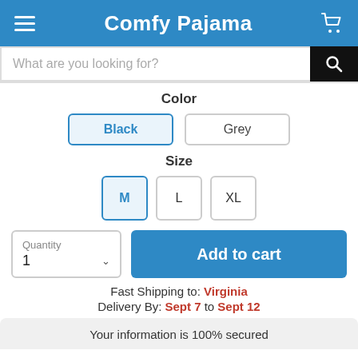Comfy Pajama
What are you looking for?
Color
Black
Grey
Size
M
L
XL
Quantity 1
Add to cart
Fast Shipping to: Virginia
Delivery By: Sept 7 to Sept 12
Your information is 100% secured